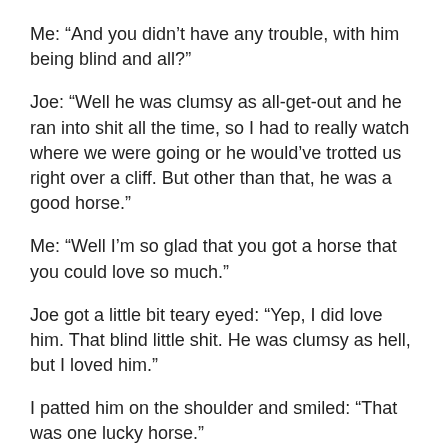Me:  “And you didn’t have any trouble, with him being blind and all?”
Joe:  “Well he was clumsy as all-get-out and he ran into shit all the time, so I had to really watch where we were going or he would’ve trotted us right over a cliff.  But other than that, he was a good horse.”
Me:  “Well I’m so glad that you got a horse that you could love so much.”
Joe got a little bit teary eyed:  “Yep, I did love him.  That blind little shit.  He was clumsy as hell, but I loved him.”
I patted him on the shoulder and smiled:  “That was one lucky horse.”
Joe looked confused:  “What horse are you talking about?”